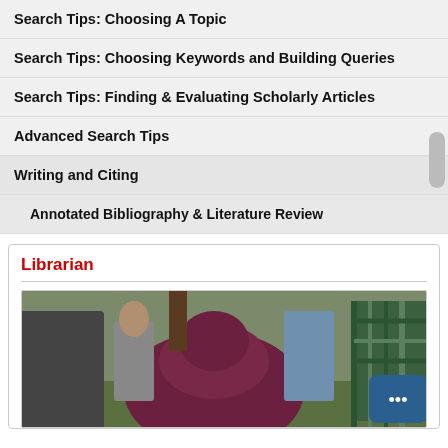Search Tips: Choosing A Topic
Search Tips: Choosing Keywords and Building Queries
Search Tips: Finding & Evaluating Scholarly Articles
Advanced Search Tips
Writing and Citing
Annotated Bibliography & Literature Review
Librarian
[Figure (photo): Outdoor crowd scene with people in casual clothing; a person in a maroon/burgundy top is visible prominently in the center-foreground]